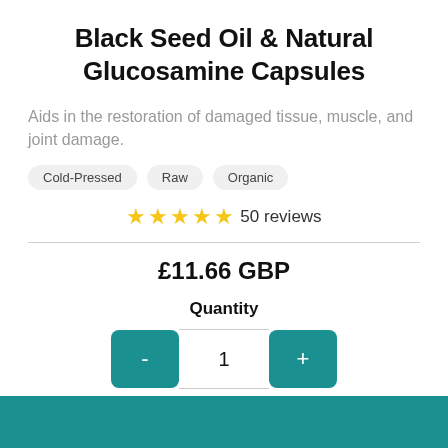Black Seed Oil & Natural Glucosamine Capsules
Aids in the restoration of damaged tissue, muscle, and joint damage.
Cold-Pressed
Raw
Organic
★★★★★ 50 reviews
£11.66 GBP
Quantity
- 1 +